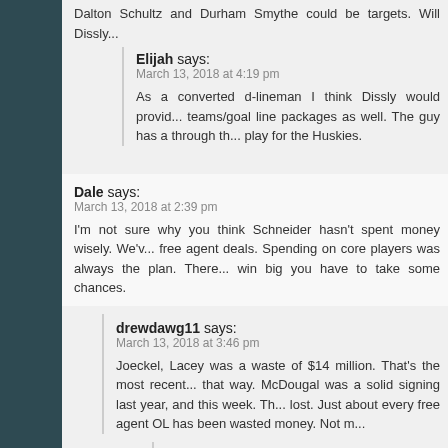Dalton Schultz and Durham Smythe could be targets. Will Dissly...
Elijah says:
March 13, 2018 at 4:19 pm
As a converted d-lineman I think Dissly would provide teams/goal line packages as well. The guy has a through th... play for the Huskies.
Dale says:
March 13, 2018 at 2:39 pm
I'm not sure why you think Schneider hasn't spent money wisely. We've free agent deals. Spending on core players was always the plan. There win big you have to take some chances.
drewdawg11 says:
March 13, 2018 at 3:46 pm
Joeckel, Lacey was a waste of $14 million. That's the most recent that way. McDougal was a solid signing last year, and this week. T lost. Just about every free agent OL has been wasted money. Not m
GerryG says:
March 13, 2018 at 6:26 pm